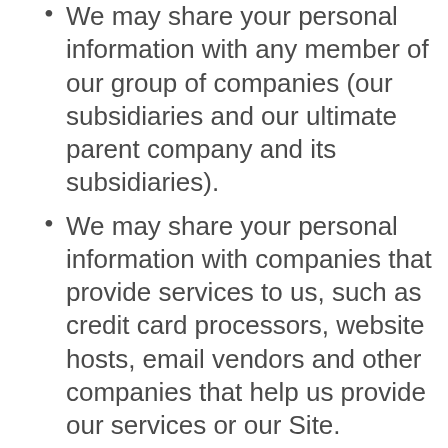We may share your personal information with any member of our group of companies (our subsidiaries and our ultimate parent company and its subsidiaries).
We may share your personal information with companies that provide services to us, such as credit card processors, website hosts, email vendors and other companies that help us provide our services or our Site.
We may disclose your personal information in response to legal process, when required to comply with laws, to combat fraudulent or criminal activity, to enforce our agreements, corporate policies and the